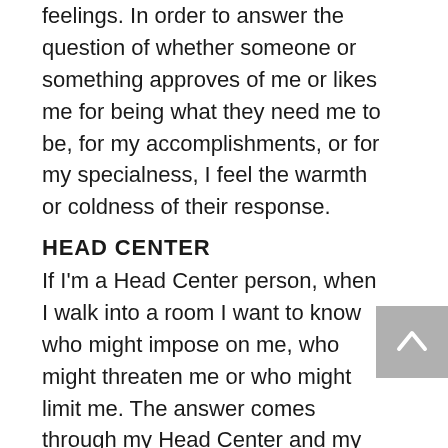feelings. In order to answer the question of whether someone or something approves of me or likes me for being what they need me to be, for my accomplishments, or for my specialness, I feel the warmth or coldness of their response.
HEAD CENTER
If I'm a Head Center person, when I walk into a room I want to know who might impose on me, who might threaten me or who might limit me. The answer comes through my Head Center and my thinking and scanning. In order to answer the question of whether someone or something threatens me by imposing on me, attacking me or by limiting me, I think and understand by